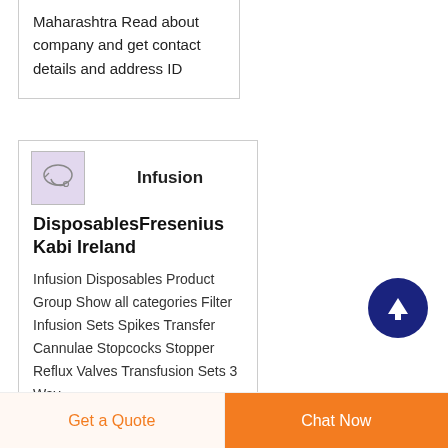Maharashtra Read about company and get contact details and address ID
[Figure (illustration): Small thumbnail image of an infusion set/tube product with light purple background]
Infusion
DisposablesFresenius Kabi Ireland
Infusion Disposables Product Group Show all categories Filter Infusion Sets Spikes Transfer Cannulae Stopcocks Stopper Reflux Valves Transfusion Sets 3 Way
[Figure (illustration): Dark blue circle with white upward arrow, scroll-to-top button]
Get a Quote
Chat Now